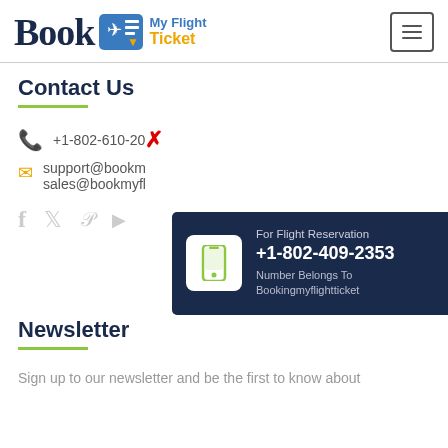Book My Flight Ticket
Contact Us
+1-802-610-20XX
support@bookm...
sales@bookmyfl...
[Figure (infographic): Popup overlay with phone icon, 'For Flight Reservation', '+1-802-409-2353', 'Number Belongs To Bookingmyflightticket']
Newsletter
Sign up to our newsletter and be the first to know about latest news, special offers, promotions and discounts.